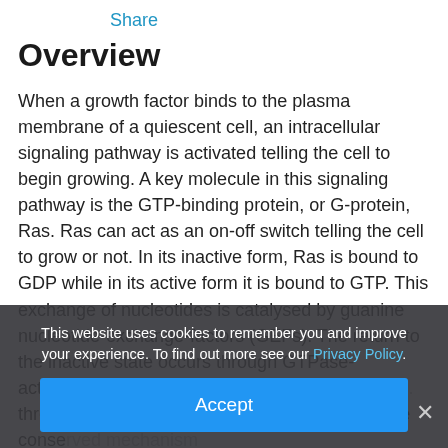Share
Overview
When a growth factor binds to the plasma membrane of a quiescent cell, an intracellular signaling pathway is activated telling the cell to begin growing. A key molecule in this signaling pathway is the GTP-binding protein, or G-protein, Ras. Ras can act as an on-off switch telling the cell to grow or not. In its inactive form, Ras is bound to GDP while in its active form it is bound to GTP. This exchange of nucleotides is catalysed by guanine nucleotide-exchange-factors (GEFs). The return to the inactive state occurs through GTPase-activating proteins (GAPs). In fact, in this talk, b[...] three-dimensional structure [...] ns, allowed him to understand the conserved mechanism...
This website uses cookies to remember you and improve your experience. To find out more see our Privacy Policy.